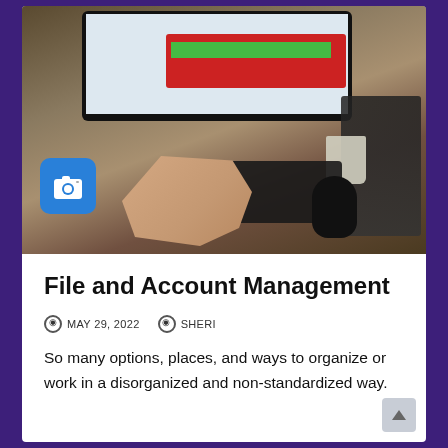[Figure (photo): Overhead view of a cluttered desk with a computer monitor displaying a design, a keyboard, mouse, notebooks, scissors, cups, and other office items. A person's hands are visible at the keyboard and mouse. A blue camera badge icon is overlaid in the lower left.]
File and Account Management
MAY 29, 2022   SHERI
So many options, places, and ways to organize or work in a disorganized and non-standardized way.